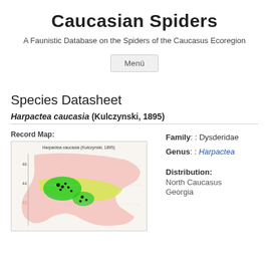Caucasian Spiders
A Faunistic Database on the Spiders of the Caucasus Ecoregion
Menü
Species Datasheet
Harpactea caucasia (Kulczynski, 1895)
Record Map:
[Figure (map): Geographic distribution map of Harpactea caucasia (Kulczynski, 1895) showing record locations in the Caucasus region, with green highlighted areas indicating presence and pink/orange shading for the broader ecoregion. Title: Harpactea caucasia (Kulczynski, 1895)]
Family: : Dysderidae
Genus: : Harpactea
Distribution:
North Caucasus
Georgia